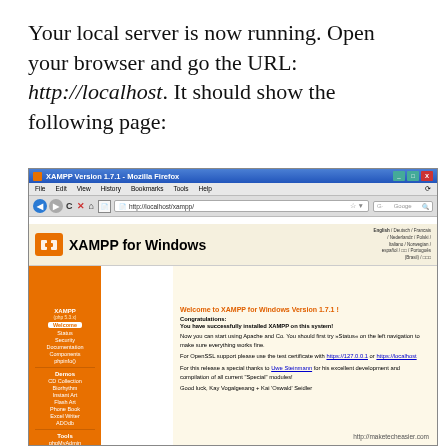Your local server is now running. Open your browser and go the URL: http://localhost. It should show the following page:
[Figure (screenshot): Screenshot of Mozilla Firefox browser showing XAMPP for Windows version 1.7.1 welcome page at http://localhost/xampp/. The browser shows the XAMPP logo and navigation menu on the left with items like XAMPP, Welcome, Status, Security, Documentation, Components, phpinfo(), Demos, CD Collection, Biorhythm, Instant Art, Flash Art, Phone Book, Excel Writer, ADOdb, Tools, phpMyAdmin, Webalizer, Mercury Mail. The main content area shows a welcome message and congratulations text. A watermark reads http://maketecheasier.com]